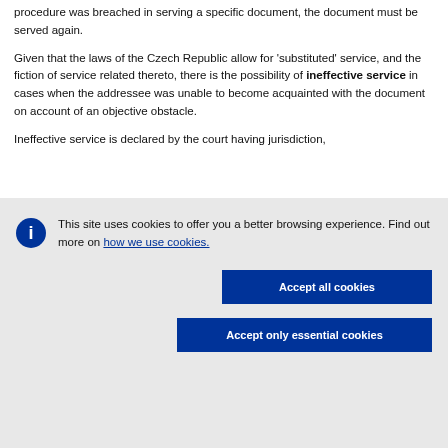procedure was breached in serving a specific document, the document must be served again.
Given that the laws of the Czech Republic allow for 'substituted' service, and the fiction of service related thereto, there is the possibility of ineffective service in cases when the addressee was unable to become acquainted with the document on account of an objective obstacle.
Ineffective service is declared by the court having jurisdiction, and the rest of the content is partially cut off.
This site uses cookies to offer you a better browsing experience. Find out more on how we use cookies.